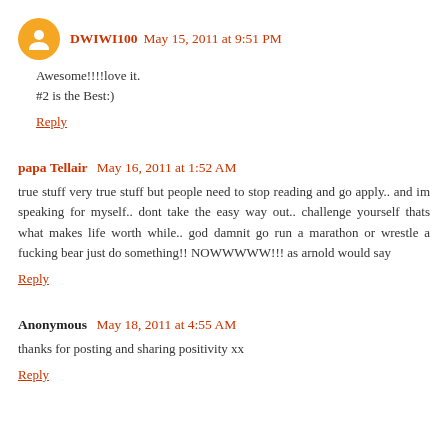DWIWI100  May 15, 2011 at 9:51 PM
Awesome!!!!love it.
#2 is the Best:)
Reply
papa Tellair  May 16, 2011 at 1:52 AM
true stuff very true stuff but people need to stop reading and go apply.. and im speaking for myself.. dont take the easy way out.. challenge yourself thats what makes life worth while.. god damnit go run a marathon or wrestle a fucking bear just do something!! NOWWWWW!!! as arnold would say
Reply
Anonymous  May 18, 2011 at 4:55 AM
thanks for posting and sharing positivity xx
Reply